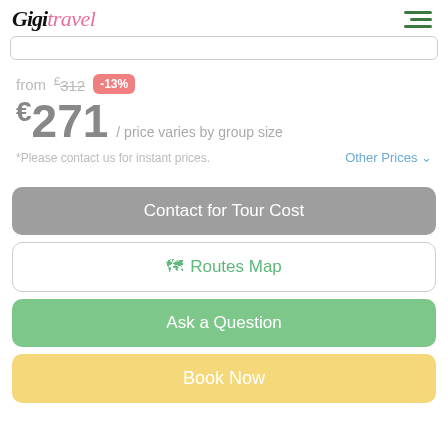[Figure (logo): Gigi Travel logo in cursive/script font — 'Gigi' in black italic serif, 'travel' in pink italic serif]
from €312 -13%
€271 / price varies by group size
*Please contact us for instant prices.
Other Prices ∨
Contact for Tour Cost
🗺 Routes Map
Ask a Question
Book Now